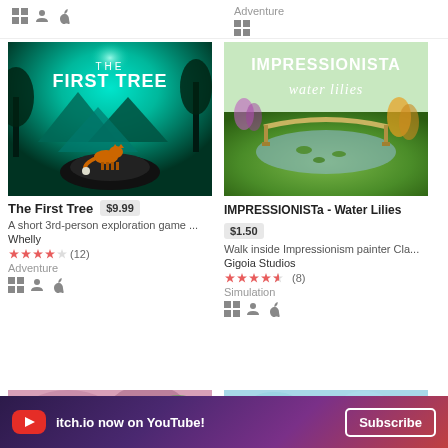[Figure (screenshot): Partial top strip showing platform icons (Windows, user, Apple) on left side, and 'Adventure' genre label with Windows icon on right side]
[Figure (photo): The First Tree game cover art - a fox standing on a rock in a glowing teal forest with mountains]
The First Tree $9.99
A short 3rd-person exploration game ...
Whelly
★★★★☆ (12)
Adventure
[Figure (photo): IMPRESSIONISTa - Water Lilies game cover art - a lush green garden with a bridge over a lily pond in impressionist style]
IMPRESSIONISTa - Water Lilies $1.50
Walk inside Impressionism painter Cla...
Gigoia Studios
★★★★½ (8)
Simulation
[Figure (screenshot): Partial bottom-left game thumbnail showing colorful illustrated art]
[Figure (screenshot): Partial bottom-right game thumbnail showing blue sky/teal scene]
itch.io now on YouTube! Subscribe